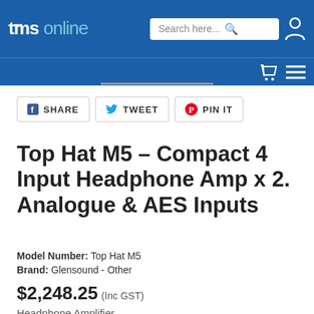tms online — Search here... [search icon] [user icon] [cart icon] [menu icon]
[Figure (screenshot): Social share buttons: SHARE (Facebook), TWEET (Twitter), PIN IT (Pinterest)]
Top Hat M5 – Compact 4 Input Headphone Amp x 2. Analogue & AES Inputs
Model Number: Top Hat M5
Brand: Glensound - Other
$2,248.25 (Inc GST)
Headphone Amplifier